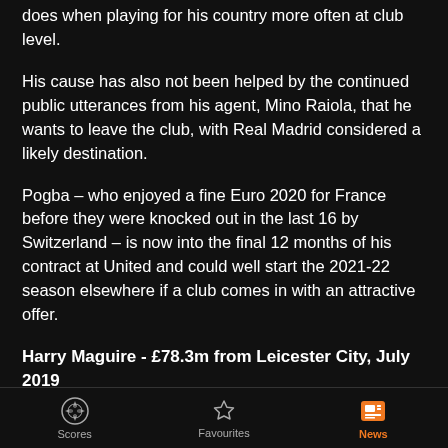does when playing for his country more often at club level.
His cause has also not been helped by the continued public utterances from his agent, Mino Raiola, that he wants to leave the club, with Real Madrid considered a likely destination.
Pogba – who enjoyed a fine Euro 2020 for France before they were knocked out in the last 16 by Switzerland – is now into the final 12 months of his contract at United and could well start the 2021-22 season elsewhere if a club comes in with an attractive offer.
Harry Maguire - £78.3m from Leicester City, July 2019
Maguire became the most expensive defender of all time when United paid £78.3m to Leicester City for his services
Scores   Favourites   News